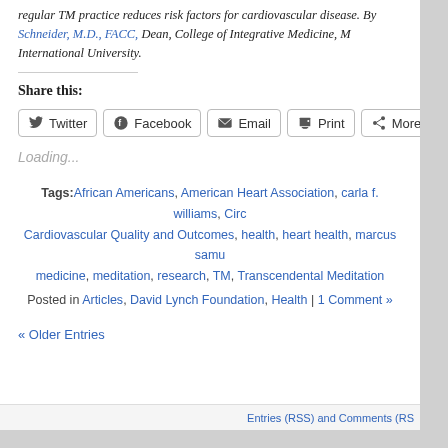regular TM practice reduces risk factors for cardiovascular disease. By Schneider, M.D., FACC, Dean, College of Integrative Medicine, M International University.
Share this:
Twitter | Facebook | Email | Print | More
Loading...
Tags: African Americans, American Heart Association, carla f. williams, Circ Cardiovascular Quality and Outcomes, health, heart health, marcus samu medicine, meditation, research, TM, Transcendental Meditation
Posted in Articles, David Lynch Foundation, Health | 1 Comment »
« Older Entries
Entries (RSS) and Comments (RS